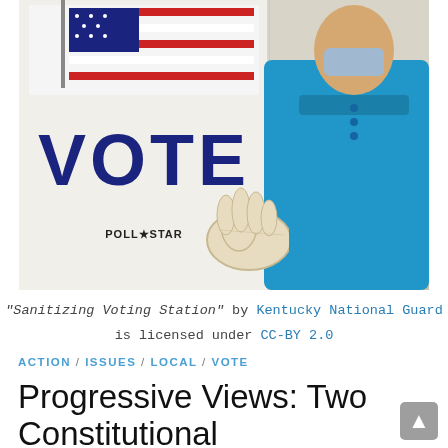[Figure (photo): A person wearing a blue polo shirt and white latex gloves holds a voting booth divider/sign that reads 'VOTE' in large dark blue letters with an American flag graphic at the top and 'POLL STAR' branding. The photo is taken at a polling station being sanitized.]
"Sanitizing Voting Station" by Kentucky National Guard is licensed under CC-BY 2.0
ACTION / ISSUES / LOCAL / VOTE
Progressive Views: Two Constitutional Amendments on May 7